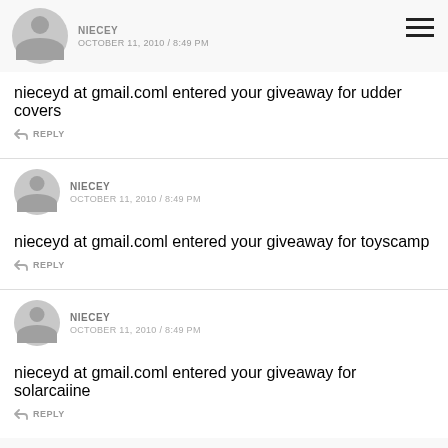NIECEY OCTOBER 11, 2010 / 8:49 PM
nieceyd at gmail.coml entered your giveaway for udder covers
↩ REPLY
NIECEY OCTOBER 11, 2010 / 8:49 PM
nieceyd at gmail.coml entered your giveaway for toyscamp
↩ REPLY
NIECEY OCTOBER 11, 2010 / 8:49 PM
nieceyd at gmail.coml entered your giveaway for solarcaiine
↩ REPLY